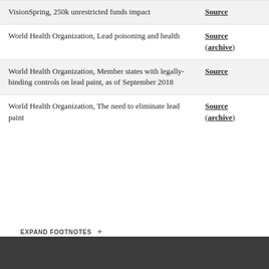|  |  |
| --- | --- |
| VisionSpring, 250k unrestricted funds impact | Source |
| World Health Organization, Lead poisoning and health | Source (archive) |
| World Health Organization, Member states with legally-binding controls on lead paint, as of September 2018 | Source |
| World Health Organization, The need to eliminate lead paint | Source (archive) |
EXPAND FOOTNOTES +
[Figure (other): Circular scroll-to-top button with orange upward chevron icon]